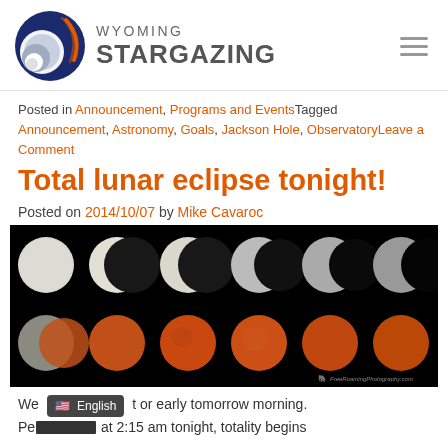Wyoming Stargazing
Posted in Announcement, Programs and Events Tagged Announcement, Astronomy, Goals, Jackson Hole, ObservatoryLeave a Comment
Total lunar eclipse tonight!
Posted on 2014/10/07 by Mike Cavaroc
[Figure (photo): Sequence of total lunar eclipse phases showing the moon progressing from full white moon through partial eclipse to blood red total eclipse, displayed in two rows of six images on a black background.]
We ... t or early tomorrow morning. Pe... at 2:15 am tonight, totality begins